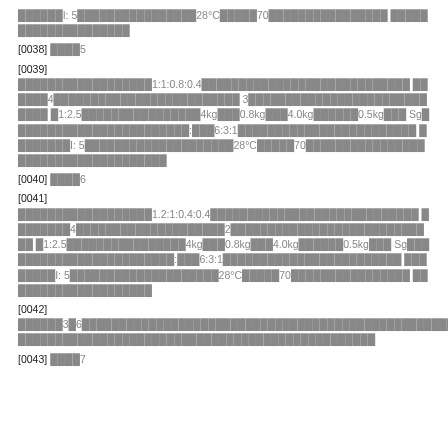██████I: 5████████████████28°C█████70████████████████████████████████████████
[0038] ████5
[0039] ██████████████████1:1:0.8:0.4████████████████████████████4████████████████████████ 3███████████████████████████████1:2.5████████████████4kg███0.8kg███4.0kg██████0.5kg███Sg███████████████████████:███6:3:1████████████████████████████I: 5████████████████████28°C█████70██████████████████████████████████████
[0040] ████6
[0041] ██████████████████1.2:1:0.4:0.4████████████████████████████4████████████████████2███████████████████████████████1:2.5████████████████4kg███0.8kg███4.0kg██████0.5kg███Sg████████████████████████:███6:3:1████████████████████████████I: 5████████████████████28°C█████70██████████████████████████████████████
[0042] ██████3█6████████████████████████████████████████████████████████████████████████████████████████████████████
[0043] ████7